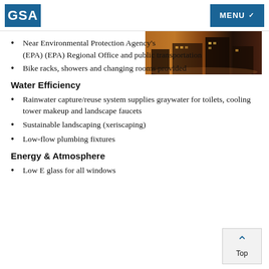GSA | MENU
[Figure (photo): Night-time photo of a building exterior with warm orange lighting]
Near Environmental Protection Agency's (EPA) (EPA) Regional Office and public transportation
Bike racks, showers and changing rooms provided
Water Efficiency
Rainwater capture/reuse system supplies graywater for toilets, cooling tower makeup and landscape faucets
Sustainable landscaping (xeriscaping)
Low-flow plumbing fixtures
Energy & Atmosphere
Low E glass for all windows